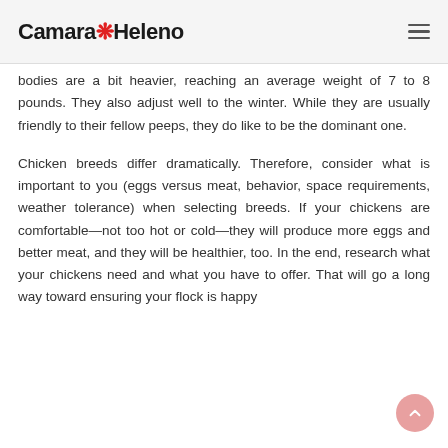Camara Heleno
bodies are a bit heavier, reaching an average weight of 7 to 8 pounds. They also adjust well to the winter. While they are usually friendly to their fellow peeps, they do like to be the dominant one.
Chicken breeds differ dramatically. Therefore, consider what is important to you (eggs versus meat, behavior, space requirements, weather tolerance) when selecting breeds. If your chickens are comfortable—not too hot or cold—they will produce more eggs and better meat, and they will be healthier, too. In the end, research what your chickens need and what you have to offer. That will go a long way toward ensuring your flock is happy